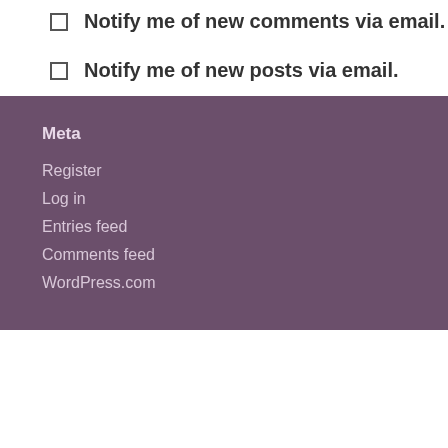Notify me of new comments via email.
Notify me of new posts via email.
Meta
Register
Log in
Entries feed
Comments feed
WordPress.com